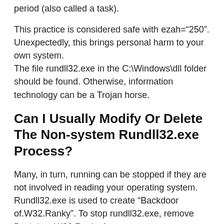period (also called a task).
This practice is considered safe with ezah="250". Unexpectedly, this brings personal harm to your own system. The file rundll32.exe in the C:\Windows\dll folder should be found. Otherwise, information technology can be a Trojan horse.
Can I Usually Modify Or Delete The Non-system Rundll32.exe Process?
Many, in turn, running can be stopped if they are not involved in reading your operating system.
Rundll32.exe is used to create “Backdoor of.W32.Ranky”. To stop rundll32.exe, remove Backdoor.W32.Ranky from your system.